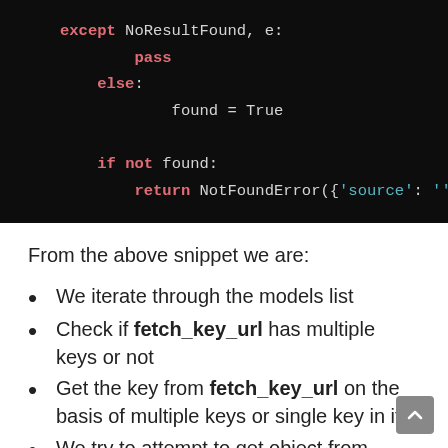[Figure (screenshot): Dark-themed code block showing Python code with except NoResultFound, pass, else, found = True, if not found: return NotFoundError({'source': ''})]
From the above snippet we are:
We iterate through the models list
Check if fetch_key_url has multiple keys or not
Get the key from fetch_key_url on the basis of multiple keys or single key in it.
We try to attempt to get object from model for the respective iteration